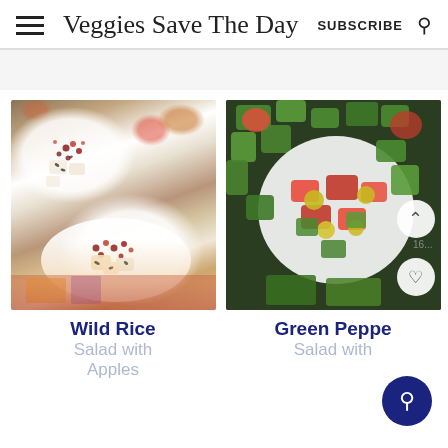Veggies Save The Day — SUBSCRIBE
[Figure (photo): Two white bowls of wild rice salad with diced apples and pomegranate seeds, on a colorful patterned cloth]
[Figure (photo): White bowl of green pepper salad with tomatoes and green olives, viewed from above]
Wild Rice
Green Peppe
Salad with
Salad with
Apples
Toma...